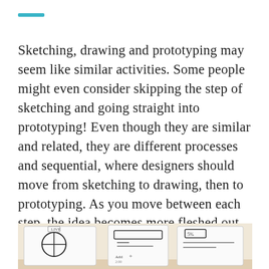Sketching, drawing and prototyping may seem like similar activities. Some people might even consider skipping the step of sketching and going straight into prototyping! Even though they are similar and related, they are different processes and sequential, where designers should move from sketching to drawing, then to prototyping. As you move between each step, the idea becomes more fleshed out each time. Here are the differences.
[Figure (photo): A photo of hand-drawn wireframe sketches on paper, showing UI layout sketches with boxes, circles and annotations.]